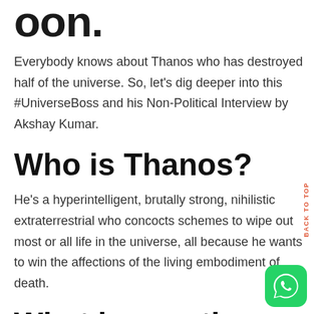oon.
Everybody knows about Thanos who has destroyed half of the universe. So, let's dig deeper into this #UniverseBoss and his Non-Political Interview by Akshay Kumar.
Who is Thanos?
He's a hyperintelligent, brutally strong, nihilistic extraterrestrial who concocts schemes to wipe out most or all life in the universe, all because he wants to win the affections of the living embodiment of death.
What is exactly